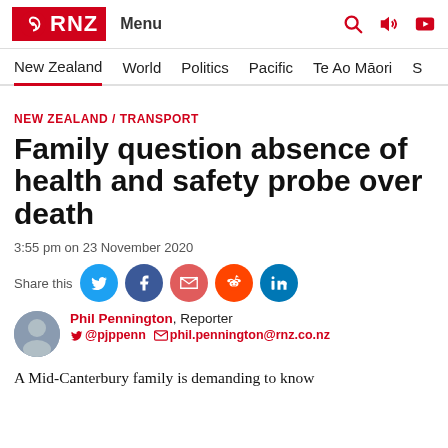RNZ — Menu
New Zealand / World / Politics / Pacific / Te Ao Māori / S
NEW ZEALAND / TRANSPORT
Family question absence of health and safety probe over death
3:55 pm on 23 November 2020
Share this
Phil Pennington, Reporter @pjppenn phil.pennington@rnz.co.nz
A Mid-Canterbury family is demanding to know